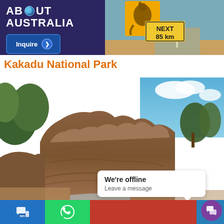[Figure (screenshot): About Australia website header with logo on dark blue background and kangaroo road sign photo on the right, with an Inquire button]
Kakadu National Park
[Figure (photo): Rocky landscape of Kakadu National Park with large sandstone rock formations, green vegetation, and blue sky with clouds]
[Figure (screenshot): Chat widget showing 'We're offline - Leave a message' popup bubble and bottom navigation bar with SMS, WhatsApp buttons]